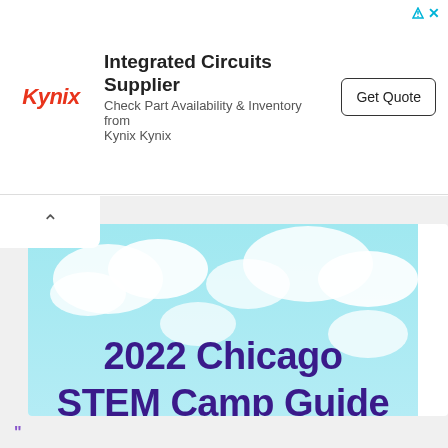[Figure (infographic): Kynix advertisement banner: Kynix logo in red italic, headline 'Integrated Circuits Supplier', subtext 'Check Part Availability & Inventory from Kynix Kynix', and a 'Get Quote' button.]
[Figure (infographic): 2022 Chicago STEM Camp Guide promotional image presented by 'm' (Makerspaces) and 'galileo' logos, with Chicago skyline in blue tones and a light blue cloudy sky background.]
”